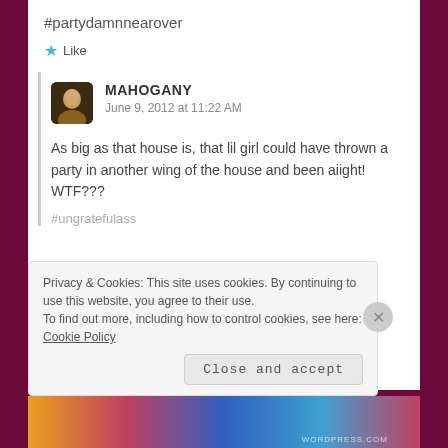#partydamnnearover
★ Like
MAHOGANY
June 9, 2012 at 11:22 AM
As big as that house is, that lil girl could have thrown a party in another wing of the house and been aiight! WTF???
#ungratefulass
Privacy & Cookies: This site uses cookies. By continuing to use this website, you agree to their use.
To find out more, including how to control cookies, see here: Cookie Policy
Close and accept